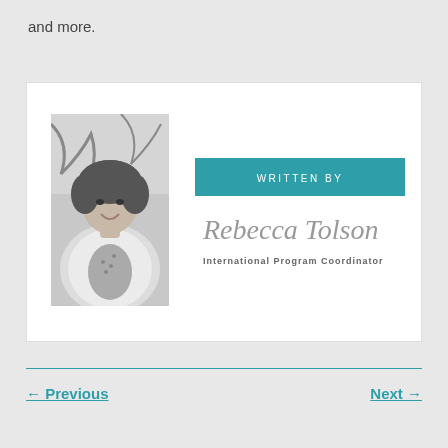and more.
[Figure (photo): Black and white photo of Rebecca Tolson, a woman with curly dark hair wearing a white cardigan, smiling, with trees in the background]
WRITTEN BY
Rebecca Tolson
International Program Coordinator
← Previous    Next →